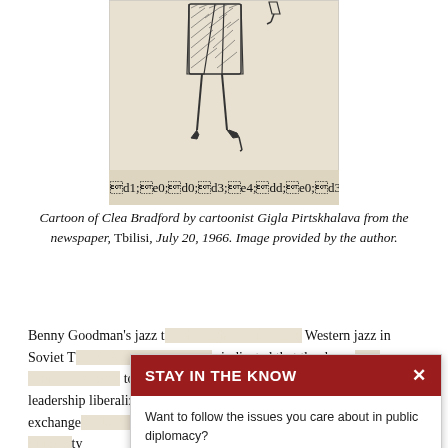[Figure (illustration): Cartoon/sketch showing lower half of a woman in a pencil skirt and heels, with Georgian script caption 'გ. ბრადფორდი' (G. Bradford)]
Cartoon of Clea Bradford by cartoonist Gigla Pirtskhalava from the newspaper, Tbilisi, July 20, 1966. Image provided by the author.
Benny Goodman's jazz t[our brought the first live] Western jazz in Soviet T[bilisi. Audience reaction]s indicated that the day w[ould eventually come] to jazz music would come s[o that when the Sov]iet leadership liberalized its [cultural policies and signed an] agreement on exchange[s. The American] Ambassador to the Sovi[et Union noted the opportu]nity